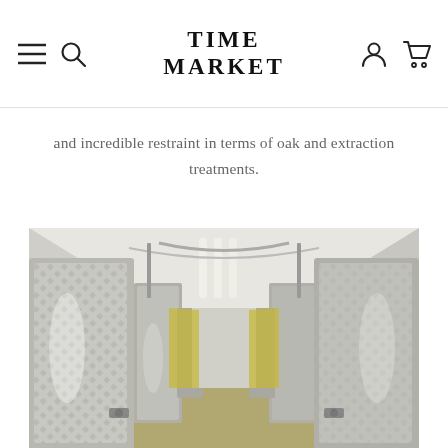TIME MARKET
and incredible restraint in terms of oak and extraction treatments.
[Figure (photo): Interior of a winery with rows of large stainless steel fermentation tanks lining both sides of a corridor, with fluorescent lighting on the ceiling and yellow walls visible in the background.]